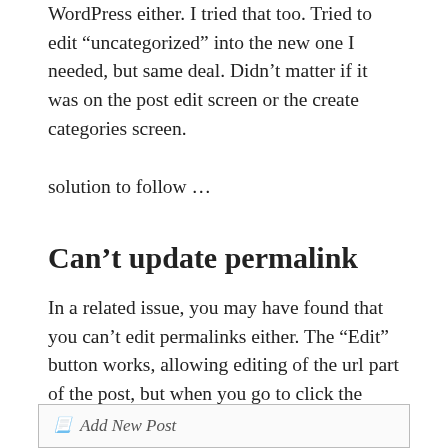WordPress either. I tried that too. Tried to edit “uncategorized” into the new one I needed, but same deal. Didn’t matter if it was on the post edit screen or the create categories screen.
solution to follow …
Can’t update permalink
In a related issue, you may have found that you can’t edit permalinks either. The “Edit” button works, allowing editing of the url part of the post, but when you go to click the “OK” button, nothing happens and the button is unresponsive.
[Figure (screenshot): Screenshot showing an 'Add New Post' button interface element]